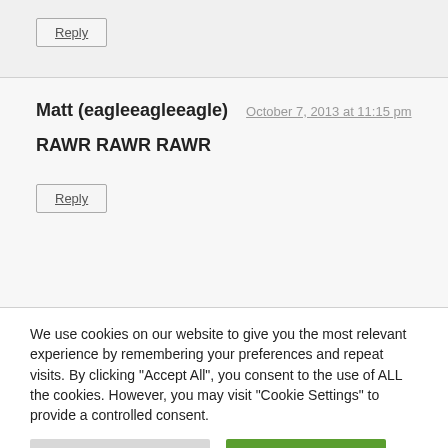Reply
Matt (eagleeagleeagle)    October 7, 2013 at 11:15 pm
RAWR RAWR RAWR
Reply
We use cookies on our website to give you the most relevant experience by remembering your preferences and repeat visits. By clicking "Accept All", you consent to the use of ALL the cookies. However, you may visit "Cookie Settings" to provide a controlled consent.
Cookie Settings
Accept All